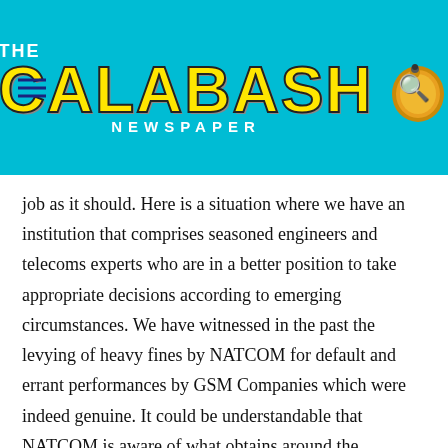[Figure (logo): The Calabash Newspaper logo with cyan/turquoise background, yellow bold CALABASH text, white THE above it, NEWSPAPER subtitle, and a gold calabash gourd icon on the right. Hamburger menu icon on the left, search magnifier on the right.]
job as it should. Here is a situation where we have an institution that comprises seasoned engineers and telecoms experts who are in a better position to take appropriate decisions according to emerging circumstances. We have witnessed in the past the levying of heavy fines by NATCOM for default and errant performances by GSM Companies which were indeed genuine. It could be understandable that NATCOM is aware of what obtains around the operations of GSM Companies which is why they are using different approaches in order to ensure that services that fluctuate in terms of being up and down are timely stabilized.
the...